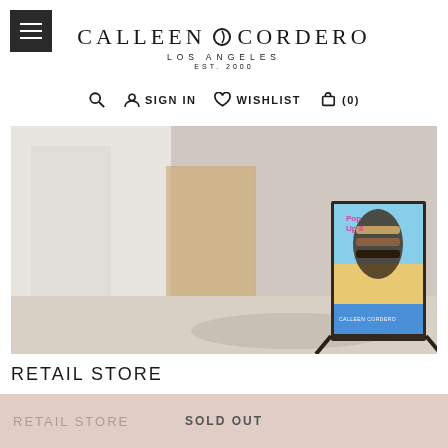CALLEEN CORDERO LOS ANGELES EST. 2000
SIGN IN  WISHLIST  (0)
[Figure (photo): Outdoor photo of a Calleen Cordero pop-up store sign on a sidewalk, showing sandals on a beach background]
RETAIL STORE
Sunset Plaza
Store Closed Permanently
Visit us at our Studio City Location
RETAIL STORE   SOLD OUT